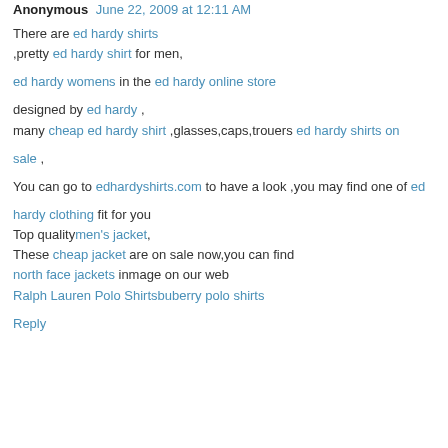Anonymous June 22, 2009 at 12:11 AM
There are ed hardy shirts ,pretty ed hardy shirt for men,

ed hardy womens in the ed hardy online store

designed by ed hardy , many cheap ed hardy shirt ,glasses,caps,trouers ed hardy shirts on

sale ,

You can go to edhardyshirts.com to have a look ,you may find one of ed

hardy clothing fit for you Top qualitymen's jacket, These cheap jacket are on sale now,you can find north face jackets inmage on our web Ralph Lauren Polo Shirtsbuberry polo shirts
Reply